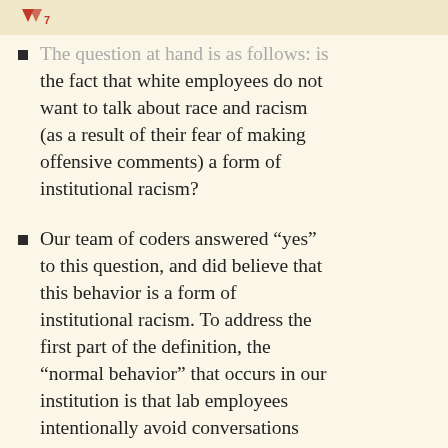The question at hand is as follows: is the fact that white employees do not want to talk about race and racism (as a result of their fear of making offensive comments) a form of institutional racism?
Our team of coders answered “yes” to this question, and did believe that this behavior is a form of institutional racism. To address the first part of the definition, the “normal behavior” that occurs in our institution is that lab employees intentionally avoid conversations